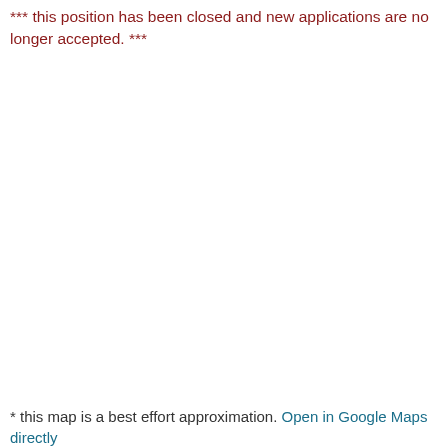*** this position has been closed and new applications are no longer accepted. ***
* this map is a best effort approximation. Open in Google Maps directly